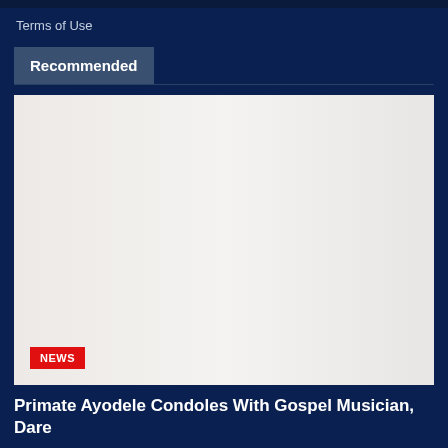Terms of Use
Recommended
[Figure (photo): Large image placeholder with light gray gradient background, with a red NEWS badge in the bottom-left corner]
Primate Ayodele Condoles With Gospel Musician, Dare